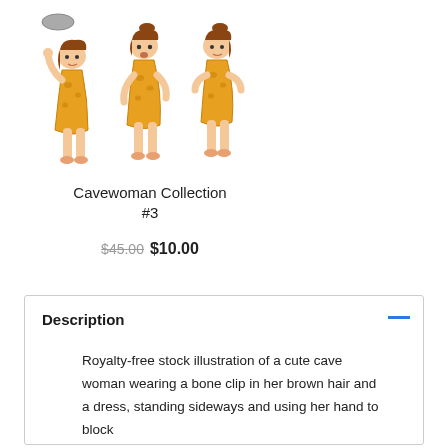[Figure (illustration): Multiple cavewoman cartoon figures in orange animal-skin dress with brown hair, shown in different poses]
Cavewoman Collection #3
$45.00 $10.00
Description
Royalty-free stock illustration of a cute cave woman wearing a bone clip in her brown hair and a dress, standing sideways and using her hand to block